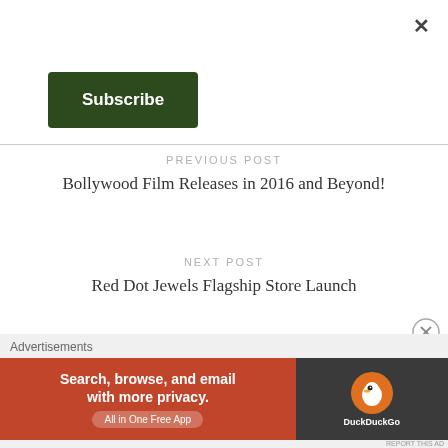[Figure (other): Close/dismiss X button in top right corner]
Subscribe
PREVIOUS POST
Bollywood Film Releases in 2016 and Beyond!
NEXT POST
Red Dot Jewels Flagship Store Launch
[Figure (other): Circle X close button for advertisement]
Advertisements
[Figure (other): DuckDuckGo advertisement banner: Search, browse, and email with more privacy. All in One Free App]